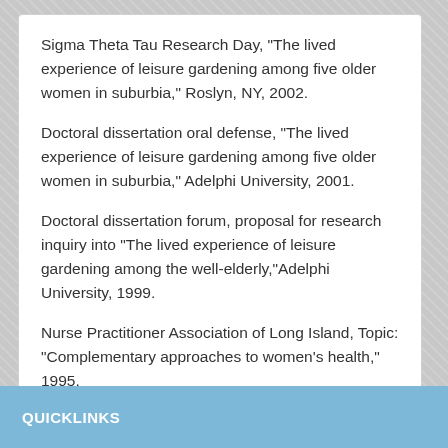Sigma Theta Tau Research Day, "The lived experience of leisure gardening among five older women in suburbia," Roslyn, NY, 2002.
Doctoral dissertation oral defense, "The lived experience of leisure gardening among five older women in suburbia," Adelphi University, 2001.
Doctoral dissertation forum, proposal for research inquiry into "The lived experience of leisure gardening among the well-elderly,"Adelphi University, 1999.
Nurse Practitioner Association of Long Island, Topic: "Complementary approaches to women's health," 1995.
QUICKLINKS